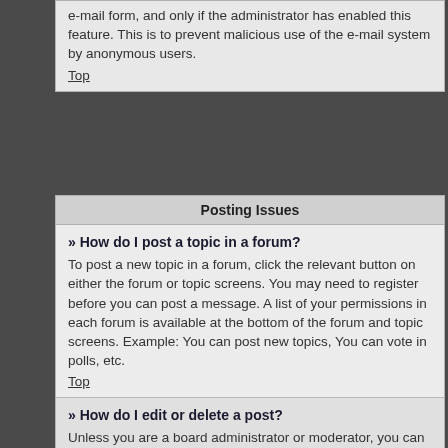e-mail form, and only if the administrator has enabled this feature. This is to prevent malicious use of the e-mail system by anonymous users.
Top
Posting Issues
» How do I post a topic in a forum?
To post a new topic in a forum, click the relevant button on either the forum or topic screens. You may need to register before you can post a message. A list of your permissions in each forum is available at the bottom of the forum and topic screens. Example: You can post new topics, You can vote in polls, etc.
Top
» How do I edit or delete a post?
Unless you are a board administrator or moderator, you can only edit or delete your own posts. You can edit a post by clicking the edit button for the relevant post, sometimes for only a limited time after the post was made. If someone has already replied to the post, you will find a small piece of text output below the post when you return to the topic which lists the number of times you edited it along with the date and time. This will only appear if someone has made a reply; it will not appear if a moderator or administrator edited the post, though they may leave a note as to why they've